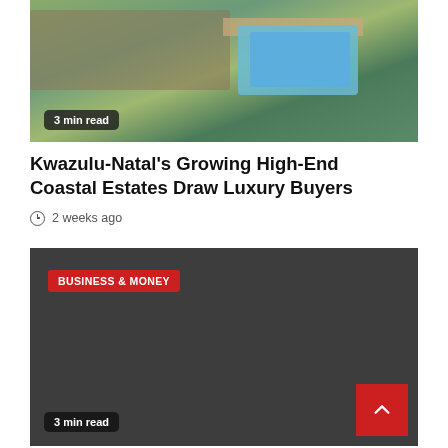[Figure (photo): Aerial view of a luxury coastal estate with a swimming pool, wooden deck, and lush green vegetation surrounding modern architecture]
3 min read
Kwazulu-Natal's Growing High-End Coastal Estates Draw Luxury Buyers
2 weeks ago
[Figure (photo): Dark gray card with 'BUSINESS & MONEY' red category badge and a dimly visible background image]
3 min read